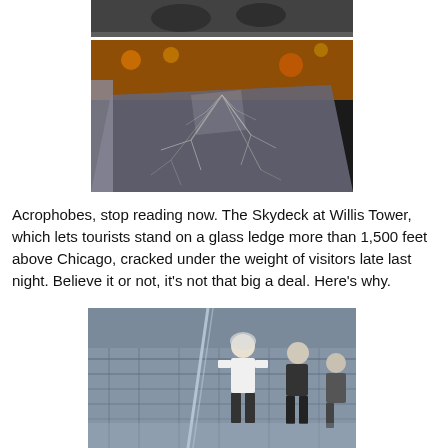[Figure (photo): Partial view of people or figures at the top of the page, small cropped photo strip]
[Figure (photo): Close-up photo of a cracked glass ledge at the Willis Tower Skydeck, showing spider-web cracks in the protective laminate layer with Chicago city lights visible below]
Acrophobes, stop reading now. The Skydeck at Willis Tower, which lets tourists stand on a glass ledge more than 1,500 feet above Chicago, cracked under the weight of visitors late last night. Believe it or not, it's not that big a deal. Here's why.
[Figure (photo): Photo of people standing on the glass-floor Skydeck ledge at Willis Tower, looking down at the Chicago cityscape far below, with glass walls visible]